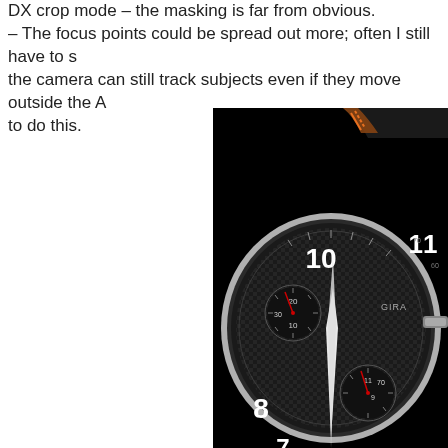DX crop mode – the masking is far from obvious. – The focus points could be spread out more; often I still have to s the camera can still track subjects even if they move outside the A to do this.
[Figure (photo): Close-up photograph of a luxury chronograph watch (appears to be a Girard-Perregaux) against a black background, showing the watch face with sub-dials, red hands, and a leather strap with orange stitching.]